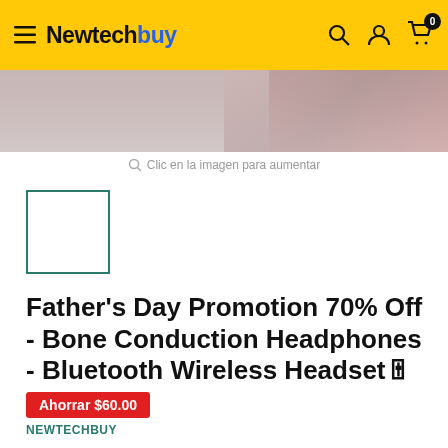Newtechbuy
[Figure (photo): Partial product image strip showing bone conduction headphones being worn]
Clic en la imagen para aumentar
[Figure (photo): Small thumbnail box outline (selected product thumbnail, empty/white)]
Father's Day Promotion 70% Off - Bone Conduction Headphones - Bluetooth Wireless Headset🎚
Ahorrar $60.00
NEWTECHBUY